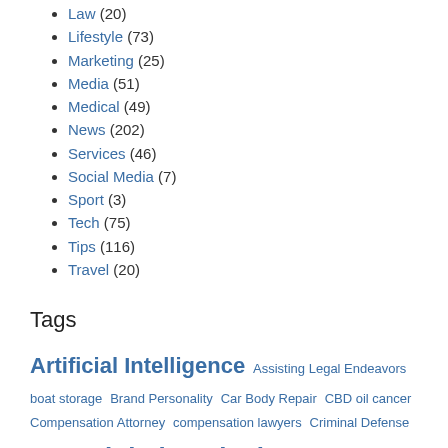Law (20)
Lifestyle (73)
Marketing (25)
Media (51)
Medical (49)
News (202)
Services (46)
Social Media (7)
Sport (3)
Tech (75)
Tips (116)
Travel (20)
Tags
Artificial Intelligence Assisting Legal Endeavors boat storage Brand Personality Car Body Repair CBD oil cancer Compensation Attorney compensation lawyers Criminal Defense Lawyers Digital Marketing Agency Digital Marketing Jobs Education Support employees skills energy efficient windows heat your home Homework